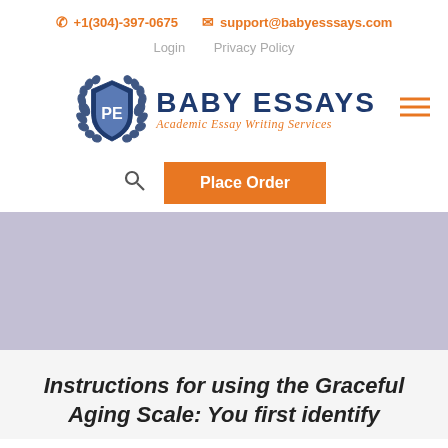✆ +1(304)-397-0675  ✉ support@babyesssays.com
Login   Privacy Policy
[Figure (logo): Baby Essays logo with shield emblem and text 'BABY ESSAYS Academic Essay Writing Services']
Place Order
[Figure (photo): Light lavender/grey hero banner image]
Instructions for using the Graceful Aging Scale: You first identify